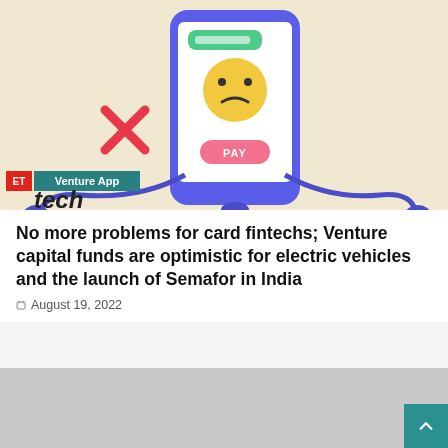[Figure (illustration): Illustration of a smartphone with a sad emoji face on screen, a 'PAY' button, and headphone wires/buds, with a red X mark — depicting card payment failure or fintech problem. Background is beige/cream. ET Tech logo and 'Venture App' badge overlay at bottom left.]
No more problems for card fintechs; Venture capital funds are optimistic for electric vehicles and the launch of Semafor in India
August 19, 2022
[Figure (photo): Gray placeholder image area (advertisement or secondary image, not loaded).]